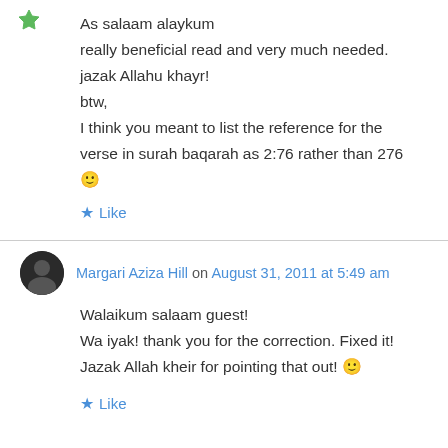As salaam alaykum
really beneficial read and very much needed.
jazak Allahu khayr!
btw,
I think you meant to list the reference for the verse in surah baqarah as 2:76 rather than 276 🙂
★ Like
Margari Aziza Hill on August 31, 2011 at 5:49 am
Walaikum salaam guest!
Wa iyak! thank you for the correction. Fixed it!
Jazak Allah kheir for pointing that out! 🙂
★ Like